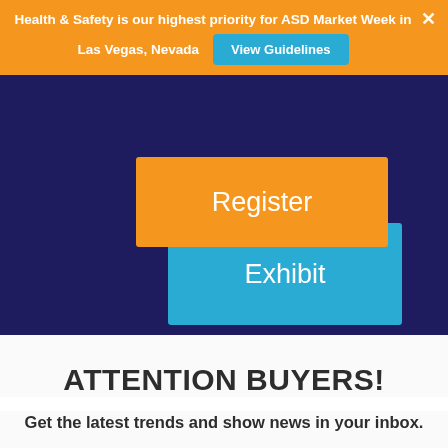Health & Safety is our highest priority for ASD Market Week in Las Vegas, Nevada
View Guidelines
[Figure (screenshot): Dark navy hero section with two overlapping buttons: 'Register' (orange) and 'Exhibit' (teal/blue)]
ATTENTION BUYERS!
Get the latest trends and show news in your inbox.